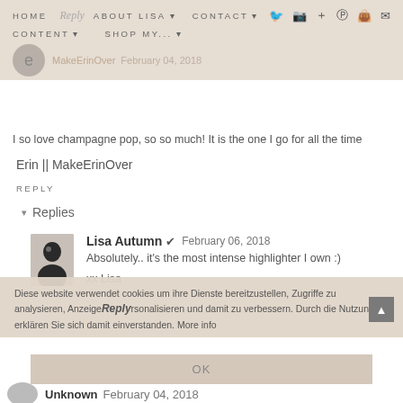HOME  ABOUT LISA  CONTACT  CONTENT  SHOP MY...
MakeErinOver  February 04, 2018
I so love champagne pop, so so much! It is the one I go for all the time
Erin || MakeErinOver
REPLY
Replies
Lisa Autumn  ✔  February 06, 2018
Absolutely.. it's the most intense highlighter I own :)
xx Lisa
Diese website verwendet cookies um ihre Dienste bereitzustellen, Zugriffe zu analysieren, Anzeige  rsonalisieren und damit zu verbessern. Durch die Nutzung erklären Sie sich damit einverstanden. More info
Reply
OK
Unknown  February 04, 2018